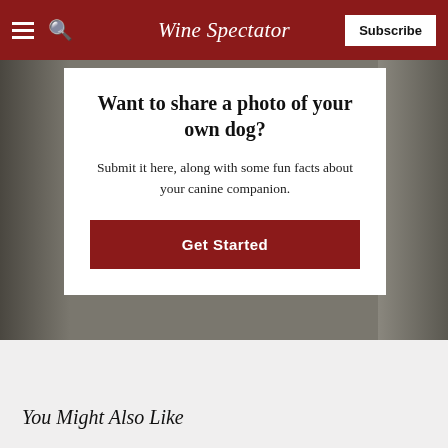Wine Spectator | Subscribe
[Figure (photo): Background photo of a dog, partially visible on the left and right sides behind a white card]
Want to share a photo of your own dog?
Submit it here, along with some fun facts about your canine companion.
Get Started
You Might Also Like